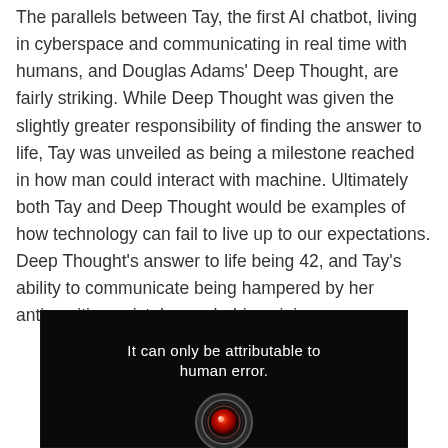The parallels between Tay, the first AI chatbot, living in cyberspace and communicating in real time with humans, and Douglas Adams' Deep Thought, are fairly striking. While Deep Thought was given the slightly greater responsibility of finding the answer to life, Tay was unveiled as being a milestone reached in how man could interact with machine. Ultimately both Tay and Deep Thought would be examples of how technology can fail to live up to our expectations. Deep Thought's answer to life being 42, and Tay's ability to communicate being hampered by her antisemitic, racist, homophobic opinions.
[Figure (photo): Dark background image (movie still) showing a glowing red HAL 9000 camera eye with white text overlay reading 'It can only be attributable to human error.']